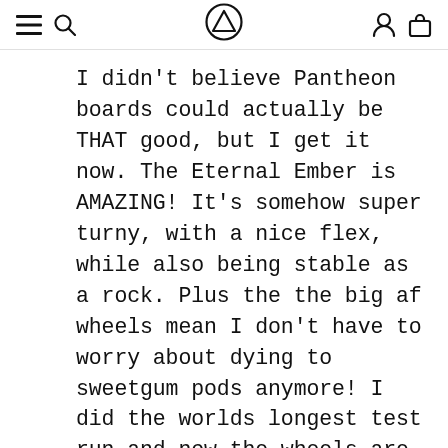[navigation bar with hamburger menu, search, Pantheon logo, user account, and cart icons]
I didn't believe Pantheon boards could actually be THAT good, but I get it now. The Eternal Ember is AMAZING! It's somehow super turny, with a nice flex, while also being stable as a rock. Plus the the big af wheels mean I don't have to worry about dying to sweetgum pods anymore! I did the worlds longest test run and now the wheels are green from pollen. I found my board.